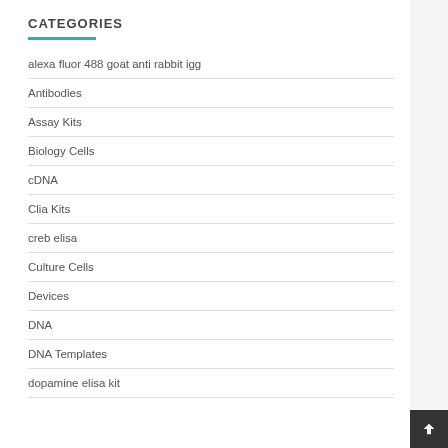CATEGORIES
alexa fluor 488 goat anti rabbit igg
Antibodies
Assay Kits
Biology Cells
cDNA
Clia Kits
creb elisa
Culture Cells
Devices
DNA
DNA Templates
dopamine elisa kit